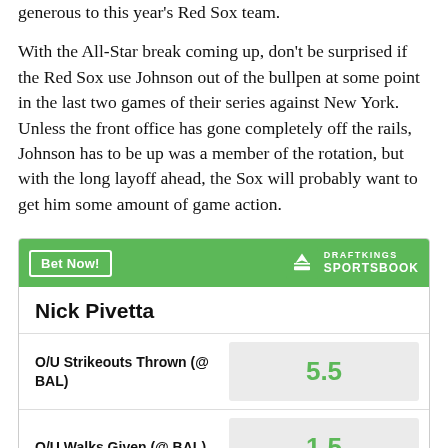generous to this year's Red Sox team.
With the All-Star break coming up, don't be surprised if the Red Sox use Johnson out of the bullpen at some point in the last two games of their series against New York. Unless the front office has gone completely off the rails, Johnson has to be up was a member of the rotation, but with the long layoff ahead, the Sox will probably want to get him some amount of game action.
| Player | Stat | Value |
| --- | --- | --- |
| Nick Pivetta | O/U Strikeouts Thrown (@ BAL) | 5.5 |
| Nick Pivetta | O/U Walks Given (@ BAL) | 1.5 |